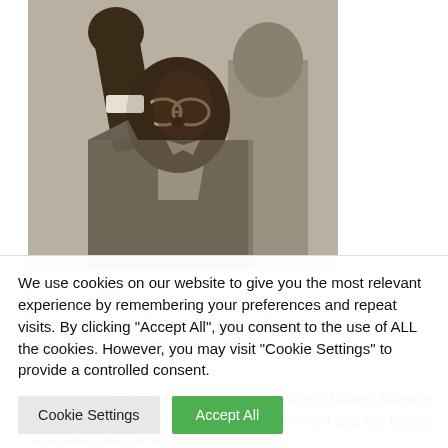[Figure (photo): Black and white photo of Robert Mugabe with fist raised, wearing a suit and glasses]
Robert Mugabe
Former president Robert Mugabe's funeral is expected to take place on Sunday, 15 September.
ZIMBABWE – The family of former president Robert Mugabe says there's no feud between the government and the family over where he will be
We use cookies on our website to give you the most relevant experience by remembering your preferences and repeat visits. By clicking "Accept All", you consent to the use of ALL the cookies. However, you may visit "Cookie Settings" to provide a controlled consent.